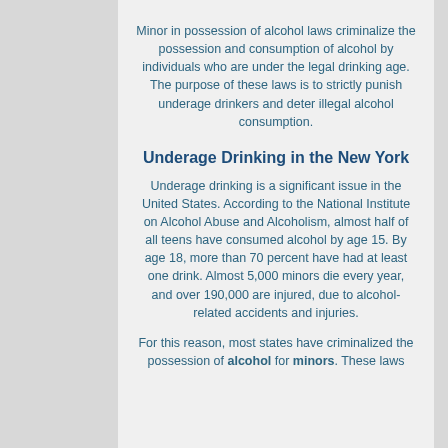Minor in possession of alcohol laws criminalize the possession and consumption of alcohol by individuals who are under the legal drinking age. The purpose of these laws is to strictly punish underage drinkers and deter illegal alcohol consumption.
Underage Drinking in the New York
Underage drinking is a significant issue in the United States. According to the National Institute on Alcohol Abuse and Alcoholism, almost half of all teens have consumed alcohol by age 15. By age 18, more than 70 percent have had at least one drink. Almost 5,000 minors die every year, and over 190,000 are injured, due to alcohol-related accidents and injuries.
For this reason, most states have criminalized the possession of alcohol for minors. These laws